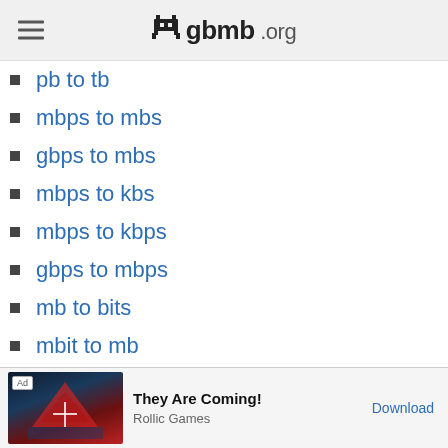gbmb.org
pb to tb
mbps to mbs
gbps to mbs
mbps to kbs
mbps to kbps
gbps to mbps
mb to bits
mbit to mb
mb to mbit
mib to mb
kb to mbit
kbit to mb
[Figure (screenshot): Ad banner: They Are Coming! by Rollic Games with Download button]